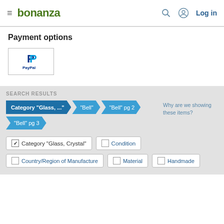bonanza — Log in
Payment options
[Figure (logo): PayPal logo in a bordered box]
SEARCH RESULTS
Category "Glass, ..." > "Bell" > "Bell" pg 2 > "Bell" pg 3
Why are we showing these items?
☑ Category "Glass, Crystal"   ☐ Condition
☐ Country/Region of Manufacture   ☐ Material   ☐ Handmade